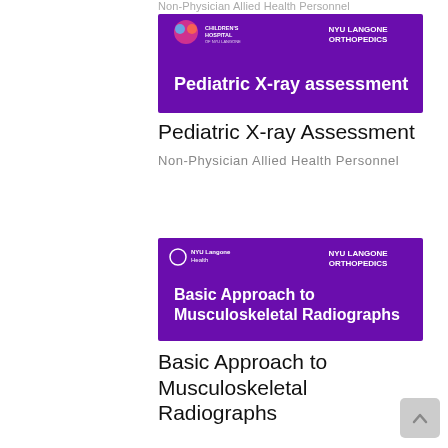Non-Physician Allied Health Personnel
[Figure (illustration): Purple banner image for 'Pediatric X-ray assessment' course — NYU Langone Orthopedics / NYU Langone Children's Hospital branding. White bold text reads: Pediatric X-ray assessment]
Pediatric X-ray Assessment
Non-Physician Allied Health Personnel
[Figure (illustration): Purple banner image for 'Basic Approach to Musculoskeletal Radiographs' course — NYU Langone Orthopedics / NYU Langone Health branding. White bold text reads: Basic Approach to Musculoskeletal Radiographs]
Basic Approach to Musculoskeletal Radiographs